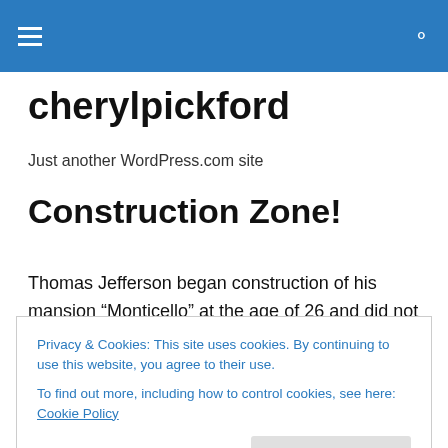cherylpickford
Just another WordPress.com site
Construction Zone!
Thomas Jefferson began construction of his mansion “Monticello” at the age of 26 and did not consider it
Privacy & Cookies: This site uses cookies. By continuing to use this website, you agree to their use.
To find out more, including how to control cookies, see here: Cookie Policy
stretch of the imagination, it seem our parents were